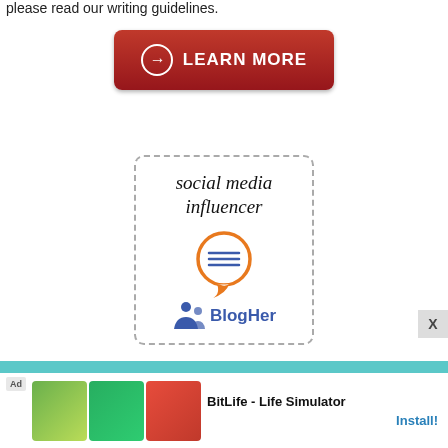please read our writing guidelines.
[Figure (other): Red LEARN MORE button with right arrow icon]
[Figure (logo): BlogHer Social Media Influencer badge with dashed border, script text 'social media influencer', orange speech bubble icon with lines, and BlogHer logo]
[Figure (other): BitLife - Life Simulator advertisement banner with Ad tag, game screenshots, and Install button]